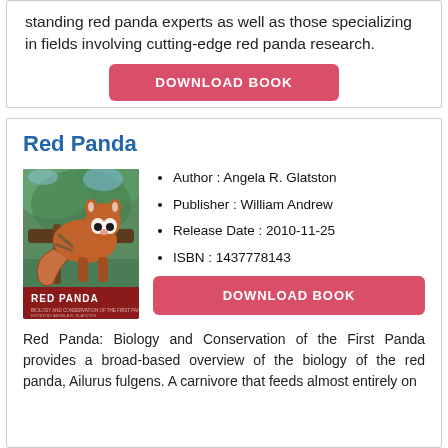standing red panda experts as well as those specializing in fields involving cutting-edge red panda research.
DOWNLOAD BOOK
Red Panda
[Figure (photo): Book cover of Red Panda: Biology and Conservation of the First Panda, edited by Angela R. Glatston, showing a red panda on a branch]
Author : Angela R. Glatston
Publisher : William Andrew
Release Date : 2010-11-25
ISBN : 1437778143
DOWNLOAD BOOK
Red Panda: Biology and Conservation of the First Panda provides a broad-based overview of the biology of the red panda, Ailurus fulgens. A carnivore that feeds almost entirely on